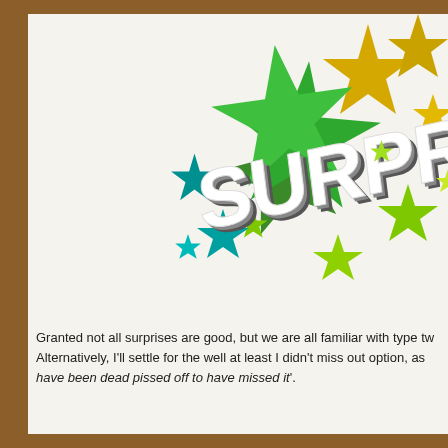[Figure (illustration): 3D illustration of the word 'SURPRIS' (partially cropped) in large bold white 3D letters with grey depth, bursting from a starburst of colorful stars in green, yellow-gold, teal/blue, and lime green colors, on a light off-white background.]
Granted not all surprises are good, but we are all familiar with type tw Alternatively, I'll settle for the well at least I didn't miss out option, as have been dead pissed off to have missed it'.